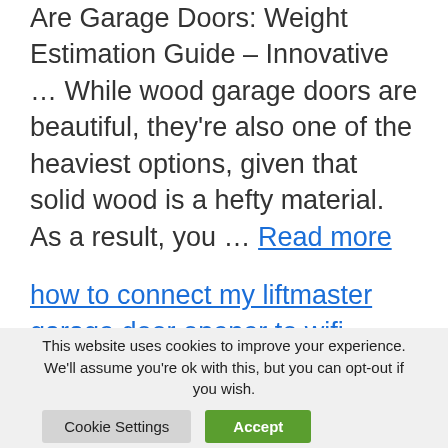Are Garage Doors: Weight Estimation Guide – Innovative … While wood garage doors are beautiful, they're also one of the heaviest options, given that solid wood is a hefty material. As a result, you … Read more
how to connect my liftmaster garage door opener to wifi
If you are looking for how to connect my liftmaster garage door opener to
This website uses cookies to improve your experience. We'll assume you're ok with this, but you can opt-out if you wish.